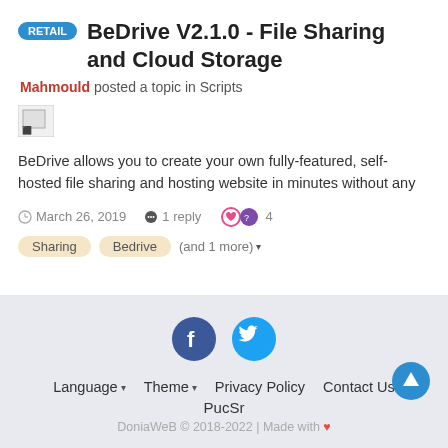RETAIL BeDrive V2.1.0 - File Sharing and Cloud Storage
Mahmould posted a topic in Scripts
[Figure (other): Broken/placeholder image thumbnail]
BeDrive allows you to create your own fully-featured, self-hosted file sharing and hosting website in minutes without any
March 26, 2019   1 reply   4
Sharing   Bedrive   (and 1 more)
Language  Theme  Privacy Policy  Contact Us  PucSr  DoniaWeB © 2018-2022 | Made with ♥